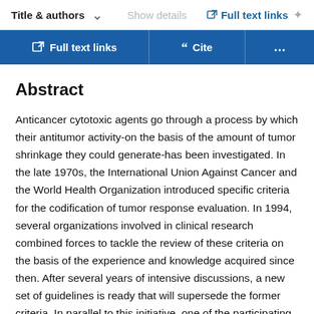Title & authors   Show details   Full text links
Full text links | Cite | ...
Abstract
Anticancer cytotoxic agents go through a process by which their antitumor activity-on the basis of the amount of tumor shrinkage they could generate-has been investigated. In the late 1970s, the International Union Against Cancer and the World Health Organization introduced specific criteria for the codification of tumor response evaluation. In 1994, several organizations involved in clinical research combined forces to tackle the review of these criteria on the basis of the experience and knowledge acquired since then. After several years of intensive discussions, a new set of guidelines is ready that will supersede the former criteria. In parallel to this initiative, one of the participating groups developed a